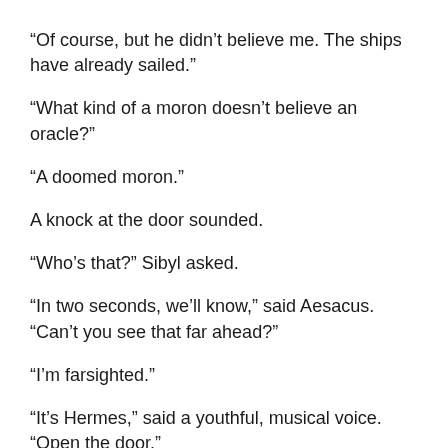“Of course, but he didn’t believe me. The ships have already sailed.”
“What kind of a moron doesn’t believe an oracle?”
“A doomed moron.”
A knock at the door sounded.
“Who’s that?” Sibyl asked.
“In two seconds, we’ll know,” said Aesacus. “Can’t you see that far ahead?”
“I’m farsighted.”
“It’s Hermes,” said a youthful, musical voice. “Open the door.”
Aesacus did, and the god entered. The wings on his feet fluttered like blowing leaves, giving him a buoyant step. “I don’t